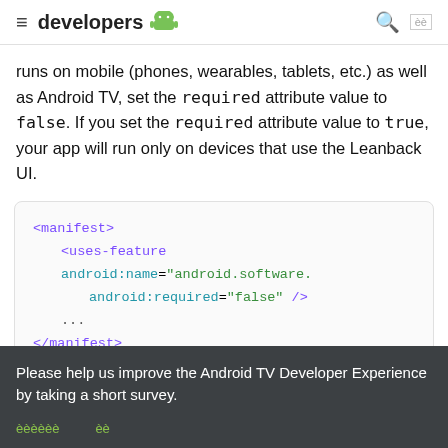≡ developers 🤖 🔍 ⬜⬜
runs on mobile (phones, wearables, tablets, etc.) as well as Android TV, set the required attribute value to false. If you set the required attribute value to true, your app will run only on devices that use the Leanback UI.
<manifest>
    <uses-feature android:name="android.software. android:required="false" />
    ...
</manifest>
Please help us improve the Android TV Developer Experience by taking a short survey.